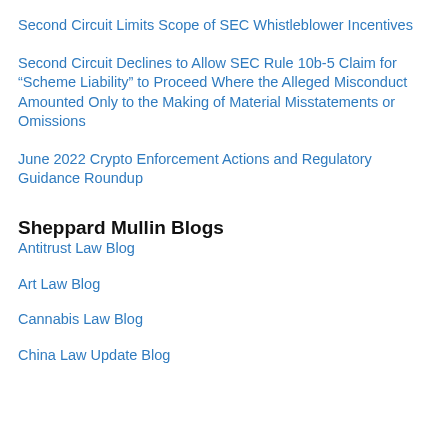Second Circuit Limits Scope of SEC Whistleblower Incentives
Second Circuit Declines to Allow SEC Rule 10b-5 Claim for “Scheme Liability” to Proceed Where the Alleged Misconduct Amounted Only to the Making of Material Misstatements or Omissions
June 2022 Crypto Enforcement Actions and Regulatory Guidance Roundup
Sheppard Mullin Blogs
Antitrust Law Blog
Art Law Blog
Cannabis Law Blog
China Law Update Blog